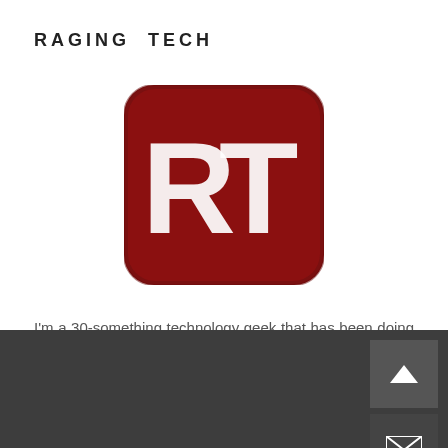RAGING TECH
[Figure (logo): Raging Tech logo: dark red rounded square with distressed white letters RT]
I'm a 30-something technology geek that has been doing some form of tech support since I first picked up a keyboard – be it for family, friends, or a job. I've spent the last 15 years trying to escape tech support, but just when I thought I was out, they pull me back in.
[Figure (infographic): Dark gray footer bar with a scroll-to-top button (chevron up icon) and an email/envelope button]